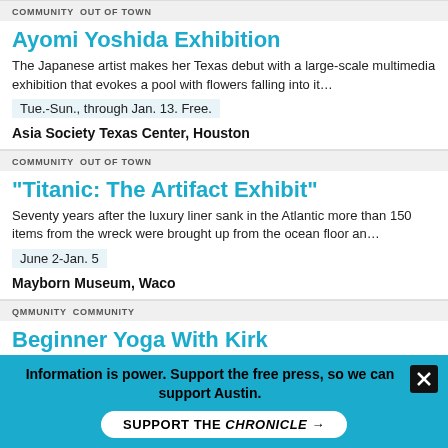COMMUNITY   OUT OF TOWN
Ayomi Yoshida Exhibition
The Japanese artist makes her Texas debut with a large-scale multimedia exhibition that evokes a pool with flowers falling into it…
Tue.-Sun., through Jan. 13. Free.
Asia Society Texas Center, Houston
COMMUNITY   OUT OF TOWN
“Titanic: The Artifact Exhibit”
Seventy years after the luxury liner sank in the Atlantic more than 150 items from the wreck were brought up from the ocean floor an…
June 2-Jan. 5
Mayborn Museum, Waco
QMMUNITY   COMMUNITY
Beginner Yoga With Kirk
Jump on your mat for a "Kirk Werk Mix" of beginner yoga open to all
Information is power. Support the free press, so we can support Austin.
SUPPORT THE CHRONICLE →